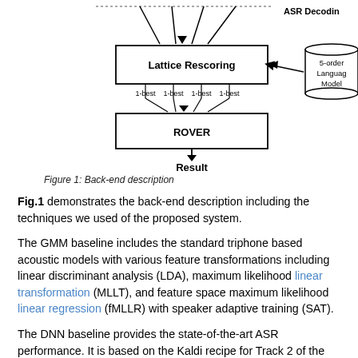[Figure (flowchart): Flowchart showing Lattice Rescoring block receiving inputs from top arrows, connected to a 5-order Language Model cylinder on the right. Below Lattice Rescoring, four '1-best' labels feed into a ROVER block, which outputs to 'Result'. ASR Decoding label at top right.]
Figure 1: Back-end description
Fig.1 demonstrates the back-end description including the techniques we used of the proposed system.
The GMM baseline includes the standard triphone based acoustic models with various feature transformations including linear discriminant analysis (LDA), maximum likelihood linear transformation (MLLT), and feature space maximum likelihood linear regression (fMLLR) with speaker adaptive training (SAT).
The DNN baseline provides the state-of-the-art ASR performance. It is based on the Kaldi recipe for Track 2 of the 2nd CHIME Challenge [xx].